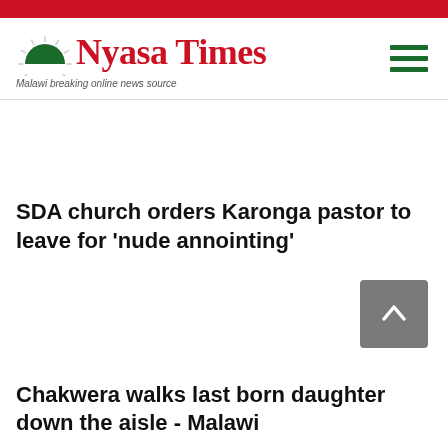[Figure (logo): Nyasa Times logo with red sun graphic and tagline 'Malawi breaking online news source']
SDA church orders Karonga pastor to leave for ‘nude annointing’
Chakwera walks last born daughter down the aisle - Malawi